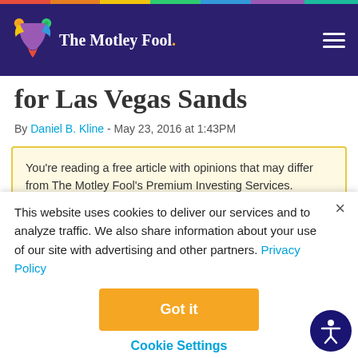The Motley Fool
...for Las Vegas Sands
By Daniel B. Kline - May 23, 2016 at 1:43PM
You’re reading a free article with opinions that may differ from The Motley Fool’s Premium Investing Services. Become a Motley Fool member today to get instant access to our top analyst recommendations, in-depth...
This website uses cookies to deliver our services and to analyze traffic. We also share information about your use of our site with advertising and other partners. Privacy Policy
Got it
Cookie Settings